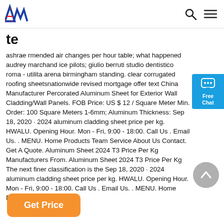AM logo, search icon, menu icon
te
ashrae rmended air changes per hour table; what happened audrey marchand ice pilots; giulio berruti studio dentistico roma - utilita arena birmingham standing. clear corrugated roofing sheetsnationwide revised mortgage offer text China Manufacturer Percorated Aluminum Sheet for Exterior Wall Cladding/Wall Panels. FOB Price: US $ 12 / Square Meter Min. Order: 100 Square Meters 1-6mm; Aluminum Thickness: Sep 18, 2020 · 2024 aluminum cladding sheet price per kg. HWALU. Opening Hour. Mon - Fri, 9:00 - 18:00. Call Us . Email Us. . MENU. Home Products Team Service About Us Contact. Get A Quote. Aluminum Sheet 2024 T3 Price Per Kg Manufacturers From. Aluminum Sheet 2024 T3 Price Per Kg The next finer classification is the Sep 18, 2020 · 2024 aluminum cladding sheet price per kg. HWALU. Opening Hour. Mon - Fri, 9:00 - 18:00. Call Us . Email Us. . MENU. Home Products Team